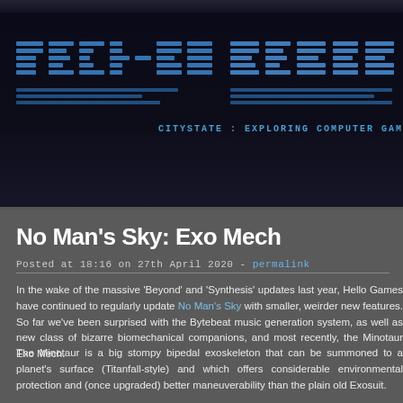CITYSTATE : EXPLORING COMPUTER GAM
No Man's Sky: Exo Mech
Posted at 18:16 on 27th April 2020 - permalink
In the wake of the massive ‘Beyond’ and ‘Synthesis’ updates last year, Hello Games have continued to regularly update No Man’s Sky with smaller, weirder new features. So far we’ve been surprised with the Bytebeat music generation system, as well as new class of bizarre biomechanical companions, and most recently, the Minotaur Exo Mech.
The Minotaur is a big stompy bipedal exoskeleton that can be summoned to a planet's surface (Titanfall-style) and which offers considerable environmental protection and (once upgraded) better maneuverability than the plain old Exosuit.
My experiences with the Exo Mech serve as a good snapshot of the current state of NMS, and why I’m regularly coming back to it after four years. A game that was criticised at launch for offering the player too little to do now boasts a plethora of complex subsystems and diversions to d